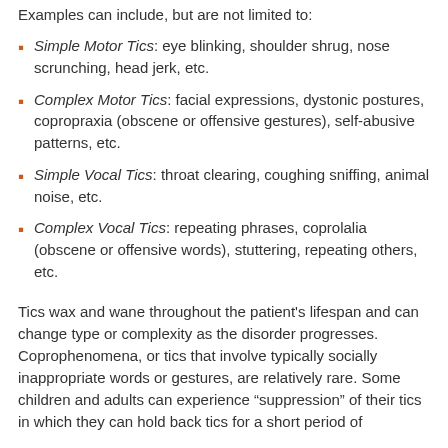Examples can include, but are not limited to:
Simple Motor Tics: eye blinking, shoulder shrug, nose scrunching, head jerk, etc.
Complex Motor Tics: facial expressions, dystonic postures, copropraxia (obscene or offensive gestures), self-abusive patterns, etc.
Simple Vocal Tics: throat clearing, coughing sniffing, animal noise, etc.
Complex Vocal Tics: repeating phrases, coprolalia (obscene or offensive words), stuttering, repeating others, etc.
Tics wax and wane throughout the patient's lifespan and can change type or complexity as the disorder progresses. Coprophenomena, or tics that involve typically socially inappropriate words or gestures, are relatively rare. Some children and adults can experience “suppression” of their tics in which they can hold back tics for a short period of